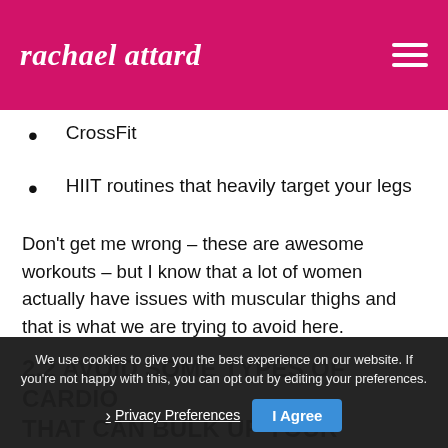rachael attard
CrossFit
HIIT routines that heavily target your legs
Don't get me wrong – these are awesome workouts – but I know that a lot of women actually have issues with muscular thighs and that is what we are trying to avoid here.
2.2 AVOID SOME TYPES OF CARDIO THAT CAN BULK UP YOUR THIGHS
Cycling, the elliptical, stairmaster, or uphill running, etc. are all great cardio workouts. They
We use cookies to give you the best experience on our website. If you're not happy with this, you can opt out by editing your preferences.
Privacy Preferences   I Agree